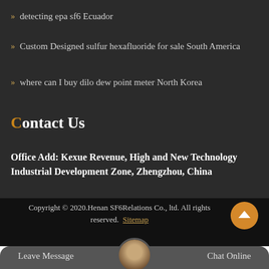detecting epa sf6 Ecuador
Custom Designed sulfur hexafluoride for sale South America
where can I buy dilo dew point meter North Korea
Contact Us
Office Add: Kexue Revenue, High and New Technology Industrial Development Zone, Zhengzhou, China
Copyright © 2020.Henan SF6Relations Co., ltd. All rights reserved. Sitemap
Leave Message
Chat Online